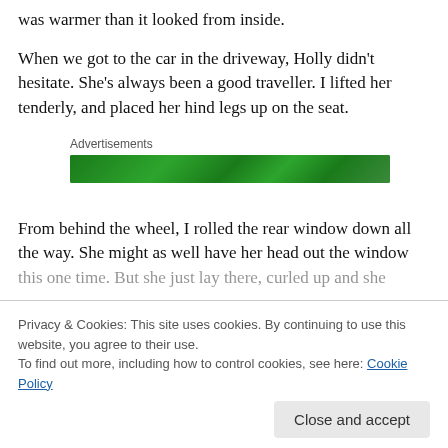was warmer than it looked from inside.
When we got to the car in the driveway, Holly didn't hesitate. She's always been a good traveller. I lifted her tenderly, and placed her hind legs up on the seat.
Advertisements
[Figure (illustration): Green advertisement banner]
From behind the wheel, I rolled the rear window down all the way. She might as well have her head out the window this one time. But she just lay there, curled up and she was there, unless you went looking for it. It's not in a fancy
Privacy & Cookies: This site uses cookies. By continuing to use this website, you agree to their use. To find out more, including how to control cookies, see here: Cookie Policy
Close and accept
was there, unless you went looking for it. It's not in a fancy